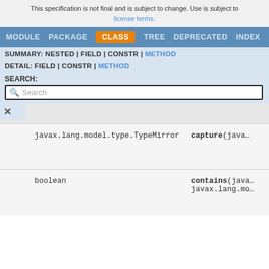This specification is not final and is subject to change. Use is subject to license terms.
MODULE  PACKAGE  CLASS  TREE  DEPRECATED  INDEX  HELP
SUMMARY: NESTED | FIELD | CONSTR | METHOD
DETAIL: FIELD | CONSTR | METHOD
SEARCH:
Search
| Return Type | Method |
| --- | --- |
| javax.lang.model.type.TypeMirror | capture(java... |
| boolean | contains(java... javax.lang.mo... |